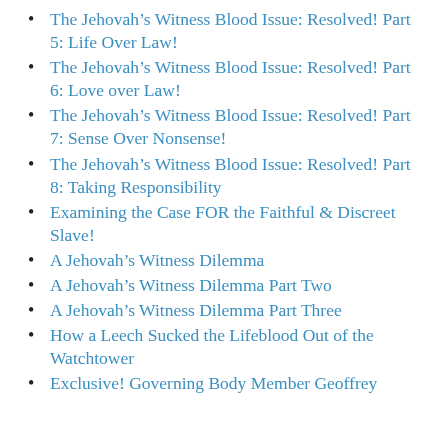The Jehovah's Witness Blood Issue: Resolved! Part 5: Life Over Law!
The Jehovah's Witness Blood Issue: Resolved! Part 6: Love over Law!
The Jehovah's Witness Blood Issue: Resolved! Part 7: Sense Over Nonsense!
The Jehovah's Witness Blood Issue: Resolved! Part 8: Taking Responsibility
Examining the Case FOR the Faithful & Discreet Slave!
A Jehovah's Witness Dilemma
A Jehovah's Witness Dilemma Part Two
A Jehovah's Witness Dilemma Part Three
How a Leech Sucked the Lifeblood Out of the Watchtower
Exclusive! Governing Body Member Geoffrey